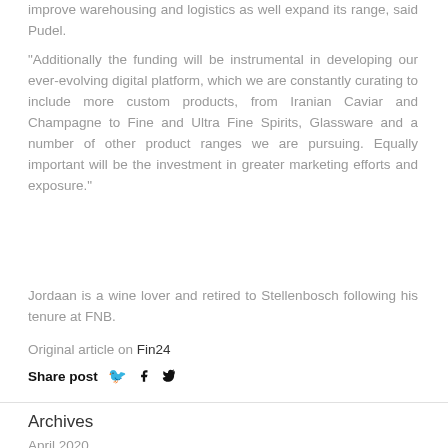improve warehousing and logistics as well expand its range, said Pudel.
“Additionally the funding will be instrumental in developing our ever-evolving digital platform, which we are constantly curating to include more custom products, from Iranian Caviar and Champagne to Fine and Ultra Fine Spirits, Glassware and a number of other product ranges we are pursuing. Equally important will be the investment in greater marketing efforts and exposure.”
Jordaan is a wine lover and retired to Stellenbosch following his tenure at FNB.
Original article on Fin24
Share post
Archives
April 2020